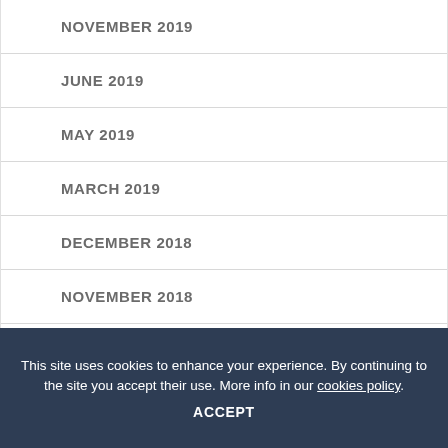NOVEMBER 2019
JUNE 2019
MAY 2019
MARCH 2019
DECEMBER 2018
NOVEMBER 2018
JULY 2018
This site uses cookies to enhance your experience. By continuing to the site you accept their use. More info in our cookies policy.
ACCEPT